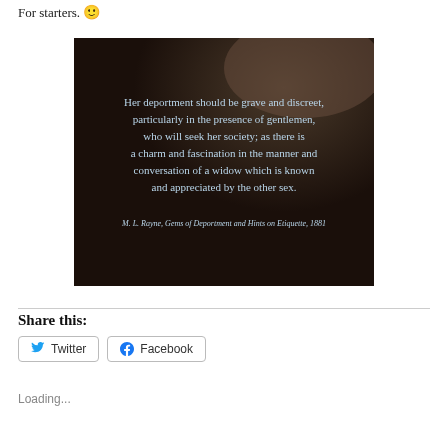For starters. 🙂
[Figure (photo): A dark projected slide showing a quote: 'Her deportment should be grave and discreet, particularly in the presence of gentlemen, who will seek her society; as there is a charm and fascination in the manner and conversation of a widow which is known and appreciated by the other sex.' attributed to M. L. Rayne, Gems of Deportment and Hints on Etiquette, 1881]
Share this:
Twitter
Facebook
Loading...